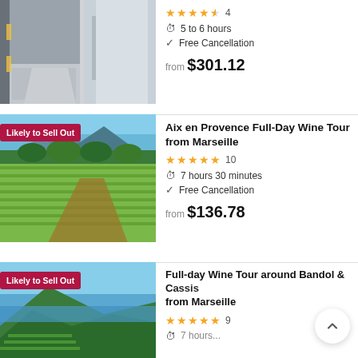[Figure (photo): Photo of a road/pathway alongside a grey building, partially visible at top of page]
4 stars (4.5) · 4 reviews · 5 to 6 hours · Free Cancellation · from $301.12
[Figure (photo): Vineyard landscape with green rows of vines, trees, and blue mountains in background. Badge: Likely to Sell Out]
Aix en Provence Full-Day Wine Tour from Marseille
5 stars · 10 reviews · 7 hours 30 minutes · Free Cancellation · from $136.78
[Figure (photo): Coastal hillside vineyard with blue water visible. Badge: Likely to Sell Out]
Full-day Wine Tour around Bandol & Cassis from Marseille
5 stars · 9 reviews · 7 hours...